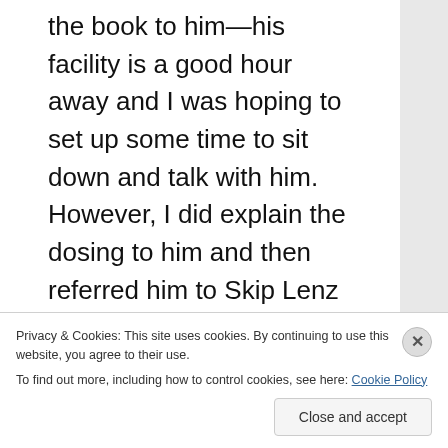the book to him—his facility is a good hour away and I was hoping to set up some time to sit down and talk with him. However, I did explain the dosing to him and then referred him to Skip Lenz at Skip's Pharmacy, a compounding pharmacy that specializes in LDN. Skip was invaluable when I was working on the book, and probably the most knowledgeable person I know when it comes to LDN.
I do it right to tell the donors leaving here how to
Privacy & Cookies: This site uses cookies. By continuing to use this website, you agree to their use.
To find out more, including how to control cookies, see here: Cookie Policy